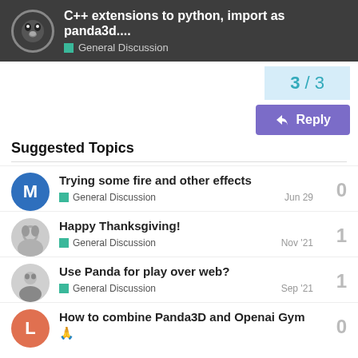C++ extensions to python, import as panda3d.... — General Discussion
3 / 3
Reply
Suggested Topics
Trying some fire and other effects — General Discussion — Jun 29 — 0
Happy Thanksgiving! — General Discussion — Nov '21 — 1
Use Panda for play over web? — General Discussion — Sep '21 — 1
How to combine Panda3D and Openai Gym🙏 — 0